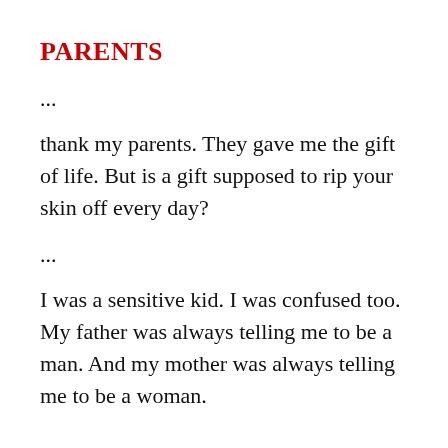PARENTS
...
thank my parents. They gave me the gift of life. But is a gift supposed to rip your skin off every day?
...
I was a sensitive kid. I was confused too. My father was always telling me to be a man. And my mother was always telling me to be a woman.